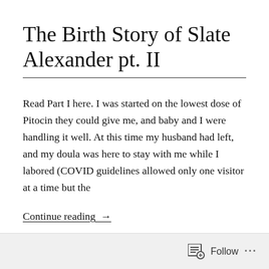The Birth Story of Slate Alexander pt. II
Read Part I here. I was started on the lowest dose of Pitocin they could give me, and baby and I were handling it well. At this time my husband had left, and my doula was here to stay with me while I labored (COVID guidelines allowed only one visitor at a time but the
Continue reading →
Follow ···